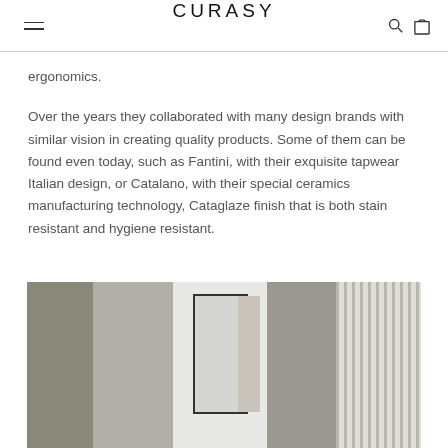CURASY
ergonomics.
Over the years they collaborated with many design brands with similar vision in creating quality products. Some of them can be found even today, such as Fantini, with their exquisite tapwear Italian design, or Catalano, with their special ceramics manufacturing technology, Cataglaze finish that is both stain resistant and hygiene resistant.
[Figure (photo): Interior bathroom/hallway scene showing muted olive-gray walls on the left, a framed mirror with terrazzo stone surround in the center, and ribbed/fluted white wall paneling with diagonal light on the right.]